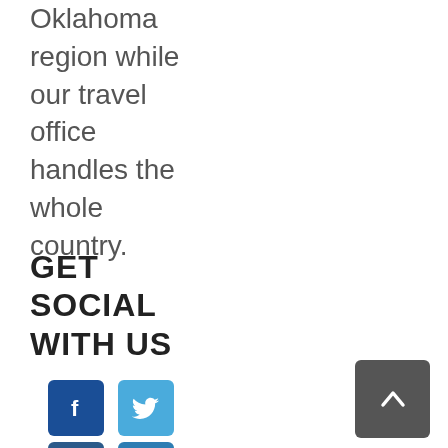Oklahoma region while our travel office handles the whole country.
GET SOCIAL WITH US
[Figure (infographic): Social media icons: Facebook (dark blue), Twitter (light blue), Instagram (dark blue), LinkedIn (medium blue)]
[Figure (other): Back to top button with upward chevron arrow, dark gray background]